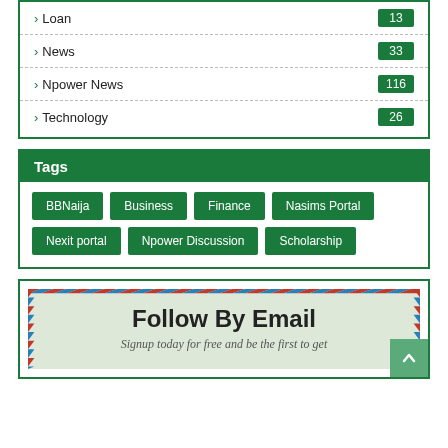Loan 13
News 33
Npower News 116
Technology 26
Tags
BBNaija
Business
Finance
Nasims Portal
Nexit portal
Npower Discussion
Scholarship
Follow By Email
Signup today for free and be the first to get